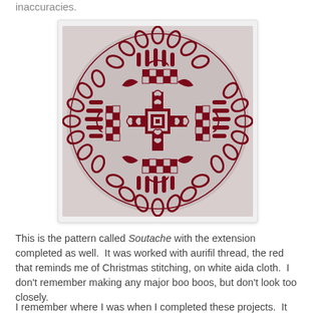inaccuracies.
[Figure (photo): A circular embroidery doily with a dark red cross-stitch pattern on white aida cloth. The design features an intricate snowflake/floral center surrounded by decorative scalloped border elements, all stitched in deep red thread.]
This is the pattern called Soutache with the extension completed as well.  It was worked with aurifil thread, the red that reminds me of Christmas stitching, on white aida cloth.  I don't remember making any major boo boos, but don't look too closely.
I remember where I was when I completed these projects.  It